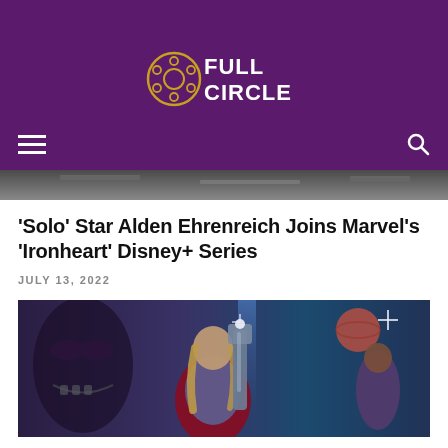Full Circle (logo)
[Figure (photo): Partial image strip at top of page showing a dark cinematic scene]
'Solo' Star Alden Ehrenreich Joins Marvel's 'Ironheart' Disney+ Series
JULY 13, 2022
[Figure (photo): Movie poster style image showing Thor with long blonde hair in red cape holding a large weapon, with a mysterious villain face in background and another character to the right, set against a sci-fi space background with blue and purple tones]